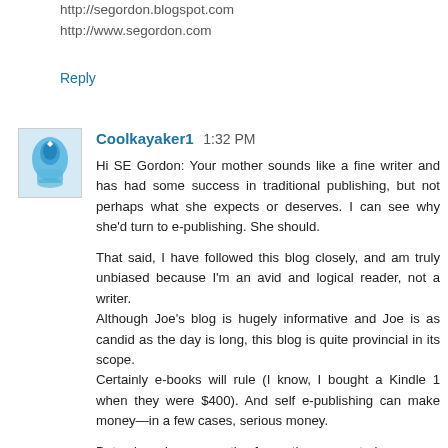http://segordon.blogspot.com
http://www.segordon.com
Reply
Coolkayaker1  1:32 PM
Hi SE Gordon: Your mother sounds like a fine writer and has had some success in traditional publishing, but not perhaps what she expects or deserves. I can see why she'd turn to e-publishing. She should.

That said, I have followed this blog closely, and am truly unbiased because I'm an avid and logical reader, not a writer.
Although Joe's blog is hugely informative and Joe is as candid as the day is long, this blog is quite provincial in its scope.
Certainly e-books will rule (I know, I bought a Kindle 1 when they were $400). And self e-publishing can make money—in a few cases, serious money.

But, a broader perspective from other news stories...